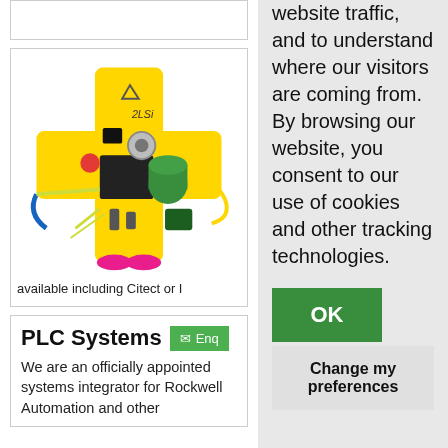[Figure (illustration): Industrial electronics/PLC components arranged on a yellow cross-shaped base, including sensors, cables, and automation hardware. Brand mark '2LSi' visible.]
available including Citect or I
PLC Systems
We are an officially appointed systems integrator for Rockwell Automation and other
website traffic, and to understand where our visitors are coming from. By browsing our website, you consent to our use of cookies and other tracking technologies.
OK
Change my preferences